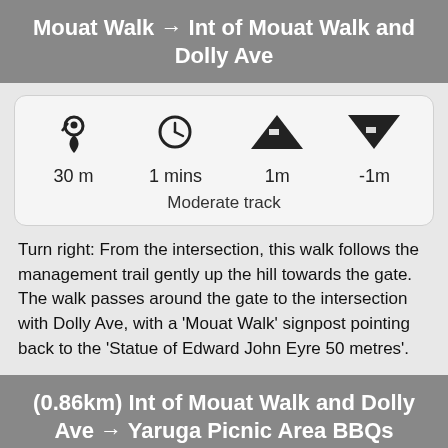Mouat Walk → Int of Mouat Walk and Dolly Ave
[Figure (infographic): Info card showing distance 30 m, time 1 mins, elevation gain 1m, elevation loss -1m, and track type Moderate track with icons]
Turn right: From the intersection, this walk follows the management trail gently up the hill towards the gate. The walk passes around the gate to the intersection with Dolly Ave, with a 'Mouat Walk' signpost pointing back to the 'Statue of Edward John Eyre 50 metres'.
(0.86km) Int of Mouat Walk and Dolly Ave → Yaruga Picnic Area BBQs